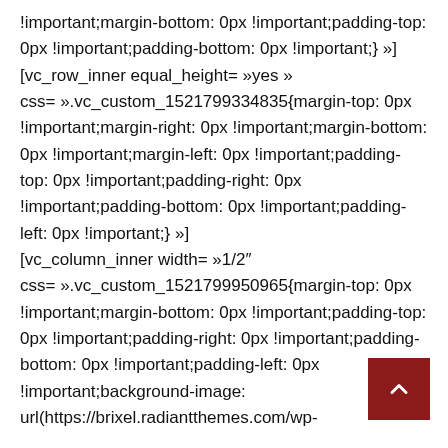!important;margin-bottom: 0px !important;padding-top: 0px !important;padding-bottom: 0px !important;} »] [vc_row_inner equal_height= »yes » css= ».vc_custom_1521799334835{margin-top: 0px !important;margin-right: 0px !important;margin-bottom: 0px !important;margin-left: 0px !important;padding-top: 0px !important;padding-right: 0px !important;padding-bottom: 0px !important;padding-left: 0px !important;} »] [vc_column_inner width= »1/2″ css= ».vc_custom_1521799950965{margin-top: 0px !important;margin-bottom: 0px !important;padding-top: 0px !important;padding-right: 0px !important;padding-bottom: 0px !important;padding-left: 0px !important;background-image: url(https://brixel.radiantthemes.com/wp-